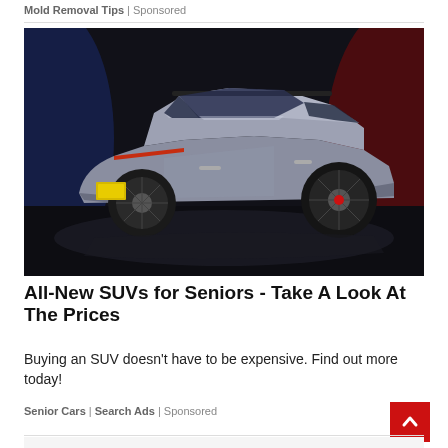Mold Removal Tips | Sponsored
[Figure (photo): Silver/grey SUV concept car photographed on dark studio floor with dramatic blue and red background lighting, rear three-quarter view showing large alloy wheels and panoramic roof]
All-New SUVs for Seniors - Take A Look At The Prices
Buying an SUV doesn't have to be expensive. Find out more today!
Senior Cars | Search Ads | Sponsored